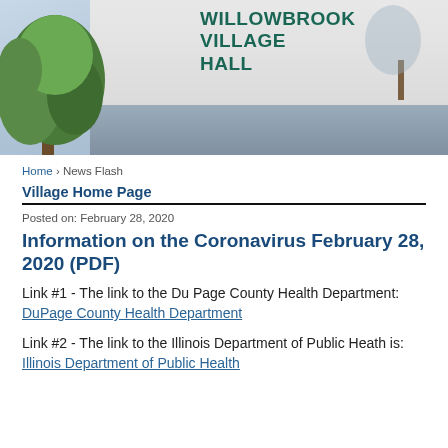[Figure (photo): Exterior photo of Willowbrook Village Hall building with green trees in foreground and teal sign reading WILLOWBROOK VILLAGE HALL]
Home › News Flash
Village Home Page
Posted on: February 28, 2020
Information on the Coronavirus February 28, 2020 (PDF)
Link #1 - The link to the Du Page County Health Department: DuPage County Health Department
Link #2 - The link to the Illinois Department of Public Heath is: Illinois Department of Public Health